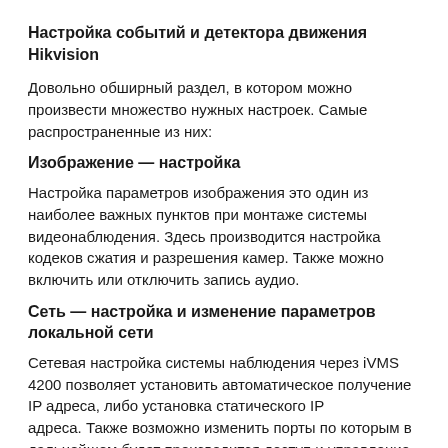Настройка событий и детектора движения Hikvision
Довольно обширный раздел, в котором можно произвести множество нужных настроек. Самые распространенные из них:
Изображение — настройка
Настройка параметров изображения это один из наиболее важных пунктов при монтаже системы видеонаблюдения. Здесь производится настройка кодеков сжатия и разрешения камер. Также можно включить или отключить запись аудио.
Сеть — настройка и изменение параметров локальной сети
Сетевая настройка системы наблюдения через iVMS 4200 позволяет установить автоматическое получение IP адреса, либо установка статического IP адреса. Также возможно изменить порты по которым в дальнейшем будет производится доступ и управление регистратором